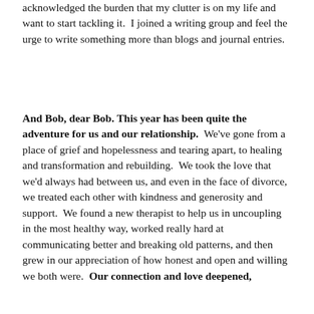acknowledged the burden that my clutter is on my life and want to start tackling it.  I joined a writing group and feel the urge to write something more than blogs and journal entries.
And Bob, dear Bob. This year has been quite the adventure for us and our relationship.  We've gone from a place of grief and hopelessness and tearing apart, to healing and transformation and rebuilding.  We took the love that we'd always had between us, and even in the face of divorce, we treated each other with kindness and generosity and support.  We found a new therapist to help us in uncoupling in the most healthy way, worked really hard at communicating better and breaking old patterns, and then grew in our appreciation of how honest and open and willing we both were.  Our connection and love deepened,